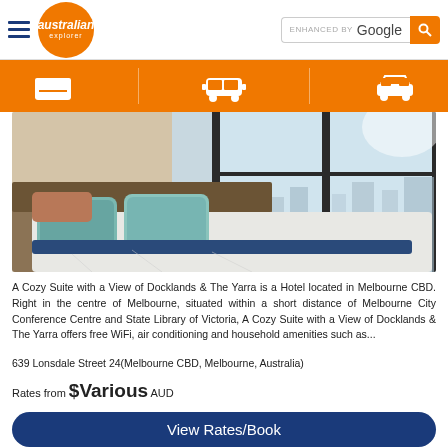Australian Explorer — ENHANCED BY Google [search bar]
[Figure (infographic): Orange navigation bar with three white icons: bed/hotel icon, bus/shuttle icon, car/transport icon, separated by vertical dividers]
[Figure (photo): Hotel room photo showing a cozy bed with blue and teal pillows and white sheets, floor-to-ceiling windows with a city skyline view of Docklands and The Yarra River, Melbourne]
A Cozy Suite with a View of Docklands & The Yarra is a Hotel located in Melbourne CBD. Right in the centre of Melbourne, situated within a short distance of Melbourne City Conference Centre and State Library of Victoria, A Cozy Suite with a View of Docklands & The Yarra offers free WiFi, air conditioning and household amenities such as...
639 Lonsdale Street 24(Melbourne CBD, Melbourne, Australia)
Rates from $Various AUD
View Rates/Book